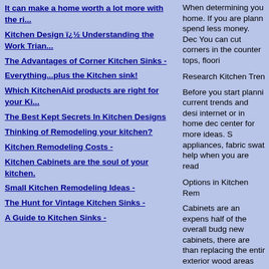It can make a home worth a lot more with the ri...
Kitchen Design ï¿½ Understanding the Work Trian...
The Advantages of Corner Kitchen Sinks -
Everything...plus the Kitchen sink!
Which KitchenAid products are right for your Ki...
The Best Kept Secrets In Kitchen Designs
Thinking of Remodeling your kitchen?
Kitchen Remodeling Costs -
Kitchen Cabinets are the soul of your kitchen.
Small Kitchen Remodeling Ideas -
The Hunt for Vintage Kitchen Sinks -
A Guide to Kitchen Sinks -
When determining you home. If you are plann spend less money. Dec You can cut corners in the counter tops, floori
Research Kitchen Tren
Before you start planni current trends and desi internet or in home dec center for more ideas. S appliances, fabric swat help when you are read
Options in Kitchen Rem
Cabinets are an expens half of the overall budg new cabinets, there are than replacing the entir exterior wood areas are using the same cabinets cabinets and buy new h
If you must have new c